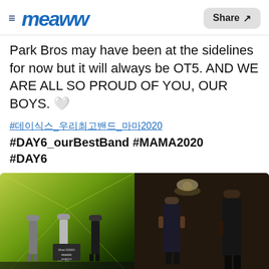meaww — Share
Park Bros may have been at the sidelines for now but it will always be OT5. AND WE ARE ALL SO PROUD OF YOU, OUR BOYS. 🤍
#데이식스_우리최고밴드_마마2020 #DAY6_ourBestBand #MAMA2020 #DAY6
[Figure (photo): Two photos side by side: left shows three DAY6 members standing at MAMA 2020 awards stage with green geometric background; right shows two people in dark indoor scene.]